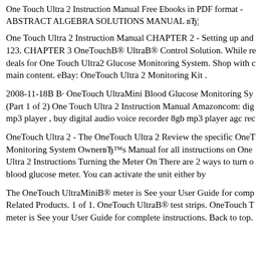One Touch Ultra 2 Instruction Manual Free Ebooks in PDF format - ABSTRACT ALGEBRA SOLUTIONS MANUAL вЂ¦
One Touch Ultra 2 Instruction Manual CHAPTER 2 - Setting up and 123. CHAPTER 3 OneTouchB® UltraB® Control Solution. While re deals for One Touch Ultra2 Glucose Monitoring System. Shop with c main content. eBay: OneTouch Ultra 2 Monitoring Kit .
2008-11-18B B· OneTouch UltraMini Blood Glucose Monitoring Sy (Part 1 of 2) One Touch Ultra 2 Instruction Manual Amazoncom: dig mp3 player , buy digital audio voice recorder 8gb mp3 player agc rec
OneTouch Ultra 2 - The OneTouch Ultra 2 Review the specific OneT Monitoring System OwnerвЂ™s Manual for all instructions on One Ultra 2 Instructions Turning the Meter On There are 2 ways to turn o blood glucose meter. You can activate the unit either by
The OneTouch UltraMiniB® meter is See your User Guide for comp Related Products. 1 of 1. OneTouch UltraB® test strips. OneTouch T meter is See your User Guide for complete instructions. Back to top.